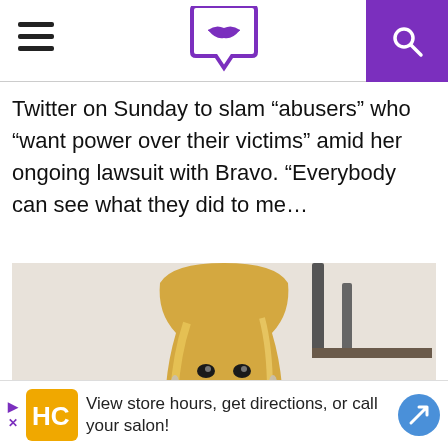[Navigation bar with hamburger menu, lips logo, and search icon]
Twitter on Sunday to slam “abusers” who “want power over their victims” amid her ongoing lawsuit with Bravo. “Everybody can see what they did to me…
[Figure (photo): Woman with long blonde hair wearing a pink top, smiling, posed in a bright interior setting]
View store hours, get directions, or call your salon!